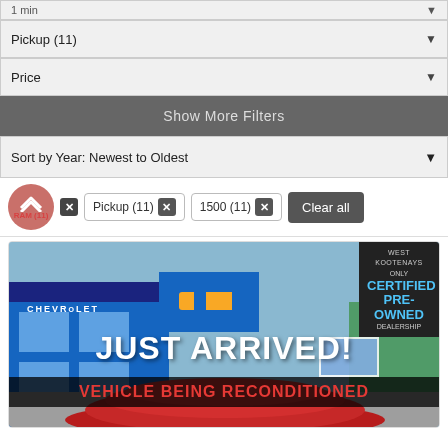1 min
Pickup (11)
Price
Show More Filters
Sort by Year: Newest to Oldest
RAM (11) × Pickup (11) × 1500 (11) × Clear all
[Figure (photo): Chevrolet dealership photo with 'JUST ARRIVED!' text overlay, 'VEHICLE BEING RECONDITIONED' banner, and West Kootenays Only Certified Pre-Owned Dealership badge]